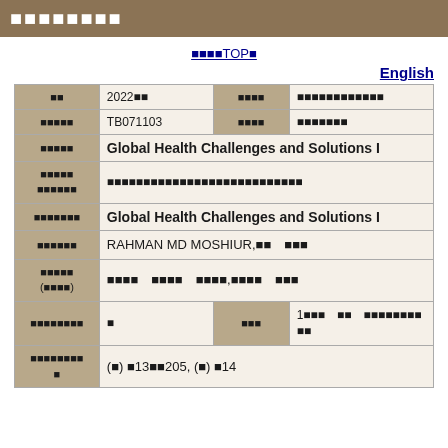■■■■■■■■
■■■■TOP■
English
| ■■ | 2022■■ | ■■■■ | ■■■■■■■■■■■■ |
| ■■■■■ | TB071103 | ■■■■ | ■■■■■■■ |
| ■■■■■ | Global Health Challenges and Solutions I |
| ■■■■■ ■■■■■■ | ■■■■■■■■■■■■■■■■■■■■■■■■■■■ |
| ■■■■■■■ | Global Health Challenges and Solutions I |
| ■■■■■■ | RAHMAN MD MOSHIUR,■■　■■■ |
| ■■■■■ (■■■■) | ■■■■　■■■■　■■■■,■■■■　■■■ |
| ■■■■■■■■ | ■ | ■■■ | 1■■■　■■　■■■■■■■■ ■■ |
| ■■■■■■■■ ■ | (■) ■13■■205, (■) ■14 |